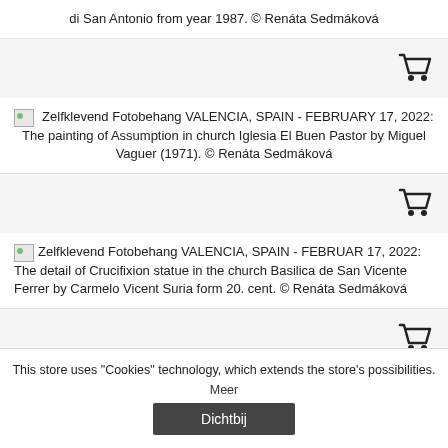di San Antonio from year 1987. © Renáta Sedmáková
[Figure (other): Shopping cart icon]
Zelfklevend Fotobehang VALENCIA, SPAIN - FEBRUARY 17, 2022: The painting of Assumption in church Iglesia El Buen Pastor by Miguel Vaguer (1971). © Renáta Sedmáková
[Figure (other): Shopping cart icon]
Zelfklevend Fotobehang VALENCIA, SPAIN - FEBRUAR 17, 2022: The detail of Crucifixion statue in the church Basilica de San Vicente Ferrer by Carmelo Vicent Suria form 20. cent. © Renáta Sedmáková
[Figure (other): Shopping cart icon]
Zelfklevend Fotobehang VALENCIA, SPAIN - FEBRUARY
This store uses "Cookies" technology, which extends the store's possibilities.
Meer
Dichtbij